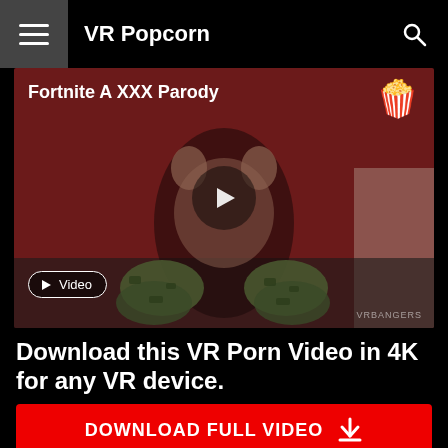VR Popcorn
[Figure (screenshot): Video thumbnail for 'Fortnite A XXX Parody' showing a video player with play button, popcorn icon top right, and a Video badge bottom left. Background is dark red.]
Download this VR Porn Video in 4K for any VR device.
DOWNLOAD FULL VIDEO